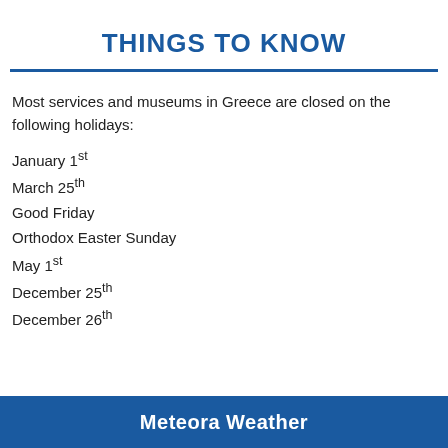THINGS TO KNOW
Most services and museums in Greece are closed on the following holidays:
January 1st
March 25th
Good Friday
Orthodox Easter Sunday
May 1st
December 25th
December 26th
Meteora Weather